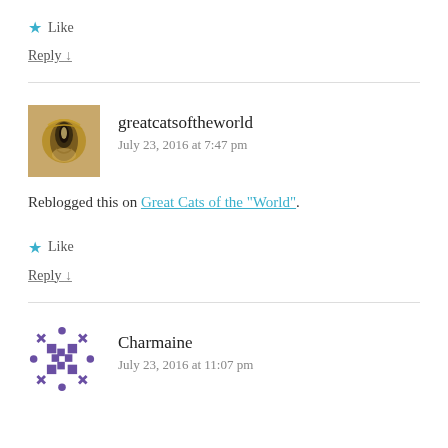★ Like
Reply ↓
greatcatsoftheworld
July 23, 2016 at 7:47 pm
Reblogged this on Great Cats of the "World".
★ Like
Reply ↓
Charmaine
July 23, 2016 at 11:07 pm